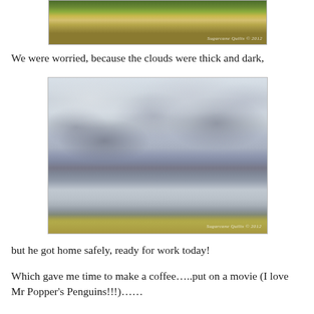[Figure (photo): Partial view of a rural landscape with green trees on the horizon and a field, watermarked 'Sugarcane Quilts 2012']
We were worried, because the clouds were thick and dark,
[Figure (photo): Dark stormy clouds over a flat rural landscape, watermarked 'Sugarcane Quilts 2012']
but he got home safely, ready for work today!
Which gave me time to make a coffee…..put on a movie (I love Mr Popper's Penguins!!!)……